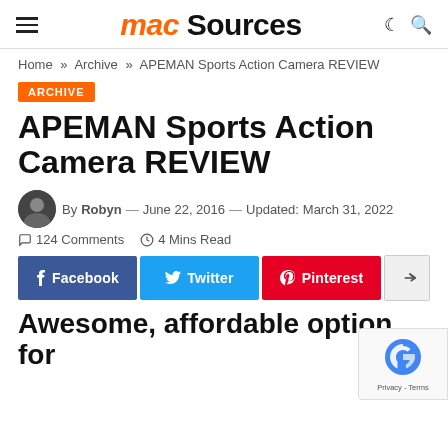Mac Sources
Home » Archive » APEMAN Sports Action Camera REVIEW
ARCHIVE
APEMAN Sports Action Camera REVIEW
By Robyn — June 22, 2016 — Updated: March 31, 2022  124 Comments  4 Mins Read
Facebook  Twitter  Pinterest
Awesome, affordable option for